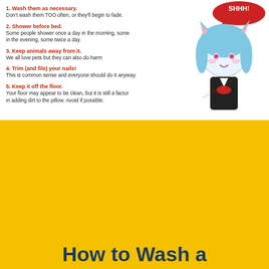1. Wash them as necessary. Don't wash them TOO often, or they'll begin to fade.
2. Shower before bed. Some people shower once a day in the morning, some in the evening, some twice a day.
3. Keep animals away from it. We all love pets but they can also do harm
4. Trim (and file) your nails! This is common sense and everyone should do it anyway.
5. Keep it off the floor. Your floor may appear to be clean, but it is still a factor in adding dirt to the pillow. Avoid if possible.
[Figure (illustration): Anime chibi girl with blue hair and cat ears, wearing black and white outfit, speech bubble at top right]
How to Wash a Dakimakura
Remove Daki Cover
To begin, carefully remove the dakimakura cover from the pillow
STEP 01
[Figure (illustration): Drawing of a pillow/dakimakura]
[Figure (illustration): Drawing of a washing machine]
STEP 02
Place in Washer
Place your dakimakura in the washing machine with bleach-free soap
Run Washer Cold
STEP